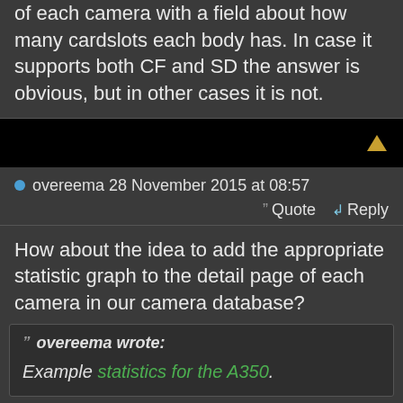of each camera with a field about how many cardslots each body has. In case it supports both CF and SD the answer is obvious, but in other cases it is not.
[Figure (other): Black bar with an upward-pointing gold/yellow triangle arrow on the right side]
overeema 28 November 2015 at 08:57
Quote  Reply
How about the idea to add the appropriate statistic graph to the detail page of each camera in our camera database?
overeema wrote:
Example statistics for the A350.